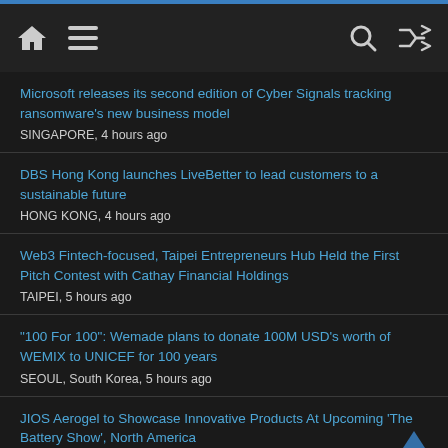Home Menu Search Shuffle
Microsoft releases its second edition of Cyber Signals tracking ransomware's new business model
SINGAPORE, 4 hours ago
DBS Hong Kong launches LiveBetter to lead customers to a sustainable future
HONG KONG, 4 hours ago
Web3 Fintech-focused, Taipei Entrepreneurs Hub Held the First Pitch Contest with Cathay Financial Holdings
TAIPEI, 5 hours ago
"100 For 100": Wemade plans to donate 100M USD's worth of WEMIX to UNICEF for 100 years
SEOUL, South Korea, 5 hours ago
JIOS Aerogel to Showcase Innovative Products At Upcoming 'The Battery Show', North America
SINGAPORE, 5 hours ago
Mason Stevens implements Annature for branded eSigning